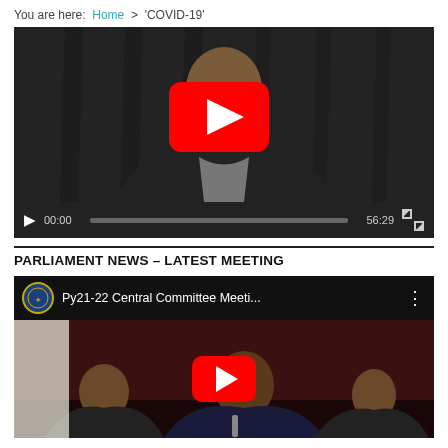You are here: Home > 'COVID-19'
[Figure (screenshot): Embedded video player showing a man in a dark suit against a dark curtain background, with a red YouTube play button overlay. Video controls show 00:00 / 56:29 with a progress bar and fullscreen button.]
PARLIAMENT NEWS – LATEST MEETING
[Figure (screenshot): YouTube video thumbnail with title 'Py21-22 Central Committee Meeti...' showing a young man in a dark suit at a meeting table, with a YouTube organization logo/seal, a red play button overlay, and a vertical dots menu.]